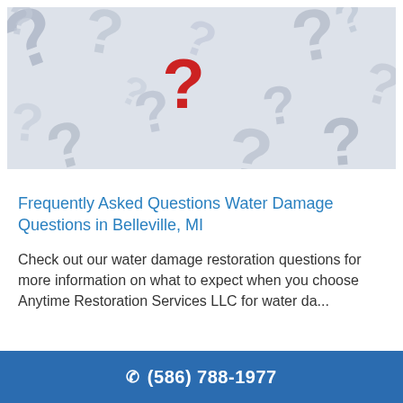[Figure (photo): A pile of grey 3D question mark symbols scattered randomly on a white background, with one prominent red question mark in the center.]
Frequently Asked Questions Water Damage Questions in Belleville, MI
Check out our water damage restoration questions for more information on what to expect when you choose Anytime Restoration Services LLC for water da...
✆ (586) 788-1977